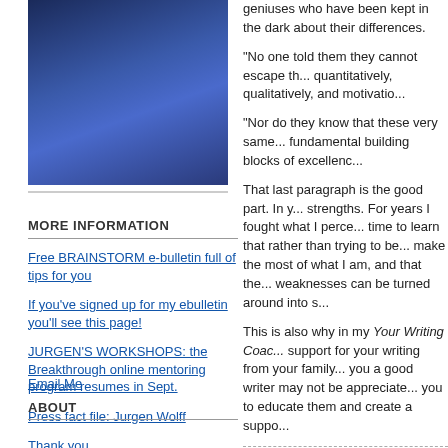[Figure (photo): Photo of a person in a dark suit with blue background, cropped at top]
MORE INFORMATION
Free BRAINSTORM e-bulletin full of tips for you
If you've signed up for my ebulletin you'll see this page!
JURGEN'S WORKSHOPS: the Breakthrough online mentoring program resumes in Sept.
Press fact file: Jurgen Wolff
Thank you
The books: Your Writing Coach, Creativity Now!
Email Me
ABOUT
geniuses who have been kept in the dark about their differences.
“No one told them they cannot escape th... quantitatively, qualitatively, and motivatio...
“Nor do they know that these very same... fundamental building blocks of excellence...
That last paragraph is the good part. In y... strengths. For years I fought what I perce... time to learn that rather than trying to be... make the most of what I am, and that the... weaknesses can be turned around into s...
This is also why in my Your Writing Coac... support for your writing from your family... you a good writer may not be appreciate... you to educate them and create a suppo...
July 29, 2007 | Permalink
REBLOG (0) | | DIGG THIS | SAVE TO
Comments